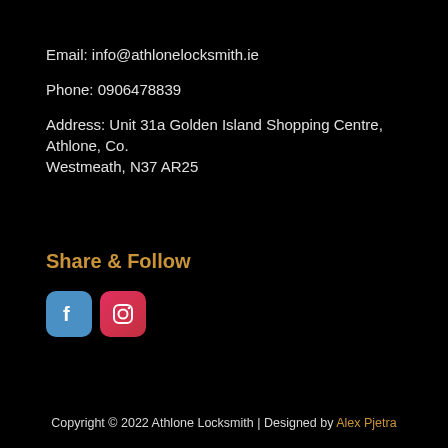Email: info@athlonelocksmith.ie
Phone: 0906478839
Address: Unit 31a Golden Island Shopping Centre, Athlone,  Co. Westmeath, N37 AR25
Share & Follow
[Figure (logo): Facebook and Instagram social media icon buttons]
Copyright © 2022 Athlone Locksmith | Designed by Alex Pjetra